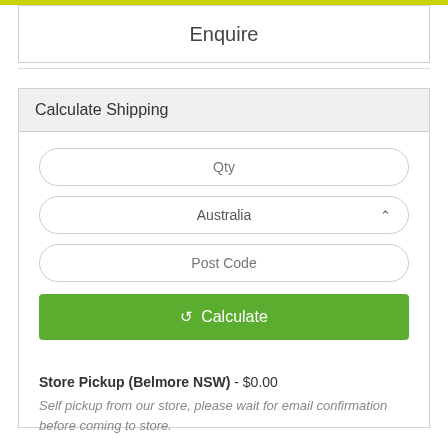Enquire
Calculate Shipping
Qty
Australia
Post Code
Calculate
Store Pickup (Belmore NSW) - $0.00
Self pickup from our store, please wait for email confirmation before coming to store.